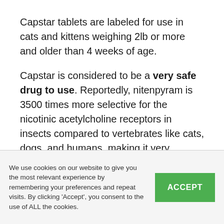Capstar tablets are labeled for use in cats and kittens weighing 2lb or more and older than 4 weeks of age.
Capstar is considered to be a very safe drug to use. Reportedly, nitenpyram is 3500 times more selective for the nicotinic acetylcholine receptors in insects compared to vertebrates like cats, dogs, and humans, making it very unlikely to exert any of its effects on a host kitty.
We use cookies on our website to give you the most relevant experience by remembering your preferences and repeat visits. By clicking "Accept", you consent to the use of ALL the cookies.